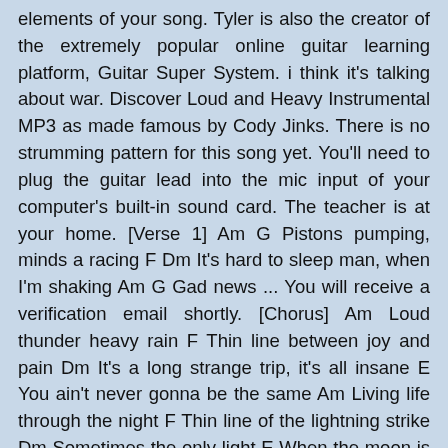elements of your song. Tyler is also the creator of the extremely popular online guitar learning platform, Guitar Super System. i think it's talking about war. Discover Loud and Heavy Instrumental MP3 as made famous by Cody Jinks. There is no strumming pattern for this song yet. You'll need to plug the guitar lead into the mic input of your computer's built-in sound card. The teacher is at your home. [Verse 1] Am G Pistons pumping, minds a racing F Dm It's hard to sleep man, when I'm shaking Am G Gad news ... You will receive a verification email shortly. [Chorus] Am Loud thunder heavy rain F Thin line between joy and pain Dm It's a long strange trip, it's all insane E You ain't never gonna be the same Am Living life through the night F Thin line of the lightning strike Dm Sometimes the only light E When the moon is tucked away. England and Wales company registration number 2008885. Loud thunder heavy rain Thin line between joy and